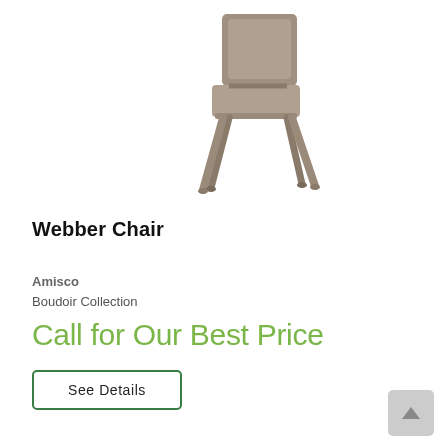[Figure (photo): A modern dining chair with taupe/gray upholstered seat and back, and four thin metal legs in a matching gray finish, viewed from a slight angle.]
Webber Chair
Amisco
Boudoir Collection
Call for Our Best Price
See Details